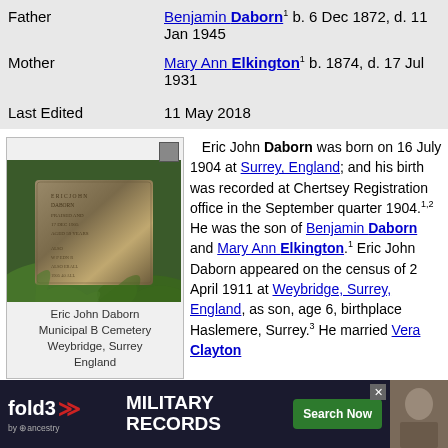| Father | Benjamin Daborn¹ b. 6 Dec 1872, d. 11 Jan 1945 |
| Mother | Mary Ann Elkington¹ b. 1874, d. 17 Jul 1931 |
| Last Edited | 11 May 2018 |
[Figure (photo): Gravestone photo in a cemetery, overgrown with greenery. Caption reads: Eric John Daborn Municipal B Cemetery Weybridge, Surrey England]
Eric John Daborn Municipal B Cemetery Weybridge, Surrey England
Eric John Daborn was born on 16 July 1904 at Surrey, England; and his birth was recorded at Chertsey Registration office in the September quarter 1904.1,2 He was the son of Benjamin Daborn and Mary Ann Elkington.1 Eric John Daborn appeared on the census of 2 April 1911 at Weybridge, Surrey, England, as son, age 6, birthplace Haslemere, Surrey.3 He married Vera Clayton in 1927; and their marriage was recorded at Chertsey Registration office in the January quarter 1927.4 Eric John Daborn ... St. Marys R... land,
[Figure (screenshot): Advertisement banner for Fold3 Military Records by Ancestry with Search Now button]